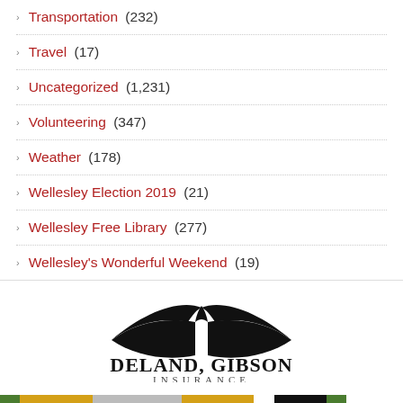Transportation (232)
Travel (17)
Uncategorized (1,231)
Volunteering (347)
Weather (178)
Wellesley Election 2019 (21)
Wellesley Free Library (277)
Wellesley's Wonderful Weekend (19)
[Figure (logo): Deland, Gibson Insurance logo with umbrella/wing graphic and colorful bar at bottom]